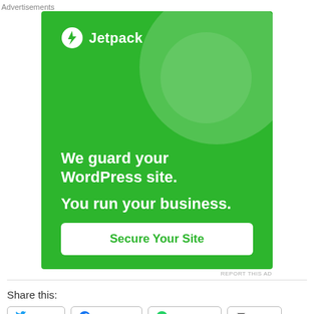Advertisements
[Figure (illustration): Jetpack advertisement on green background with text 'We guard your WordPress site. You run your business.' and a 'Secure Your Site' button]
REPORT THIS AD
Share this:
Twitter
Facebook
WhatsApp
Email
Advertisements
[Figure (illustration): Tumblr Ad-Free Browsing advertisement showing $39.99 a year or $4.99 a month]